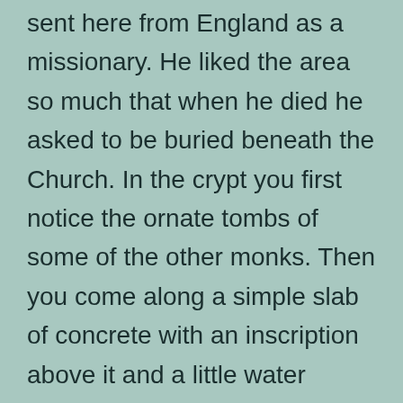sent here from England as a missionary. He liked the area so much that when he died he asked to be buried beneath the Church. In the crypt you first notice the ornate tombs of some of the other monks. Then you come along a simple slab of concrete with an inscription above it and a little water fountain at the base. This is where St. Willibrord was buried in 739. He was born in 658. He became an archbishop and also received some land in Echternach to build the church. Soon after his death he was venerated as a saint. My guide told me that to this day he is prayed to or worshiped for